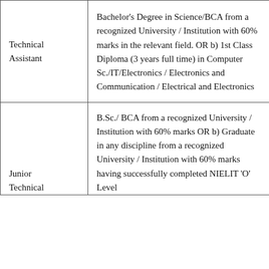| Position | Qualification |
| --- | --- |
| Technical Assistant | Bachelor's Degree in Science/BCA from a recognized University / Institution with 60% marks in the relevant field. OR b) 1st Class Diploma (3 years full time) in Computer Sc./IT/Electronics / Electronics and Communication / Electrical and Electronics |
| Junior Technical | B.Sc./ BCA from a recognized University / Institution with 60% marks OR b) Graduate in any discipline from a recognized University / Institution with 60% marks having successfully completed NIELIT 'O' Level |